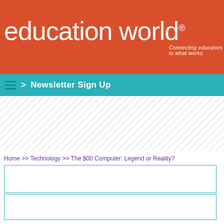[Figure (logo): Education World logo on orange/red banner background with tagline 'Connecting educators to what works']
> Newsletter Sign Up
Home >> Technology >> The $00 Computer: Legend or Reality?
[Figure (screenshot): AdMetricsPro video ad overlay showing S&S Worldwide Online Learning with play button icon and mute button, partially visible on right side of page]